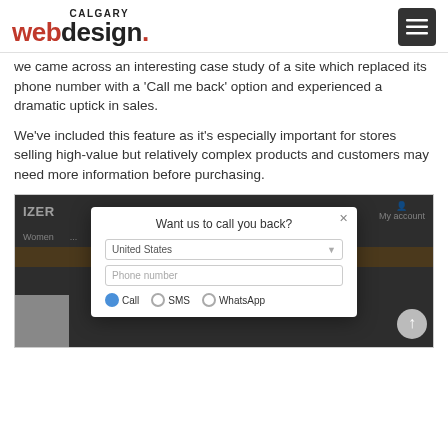CALGARY webdesign.
we came across an interesting case study of a site which replaced its phone number with a 'Call me back' option and experienced a dramatic uptick in sales.
We've included this feature as it's especially important for stores selling high-value but relatively complex products and customers may need more information before purchasing.
[Figure (screenshot): Screenshot of an e-commerce website showing a 'Want us to call you back?' modal dialog with fields for country selection (United States), phone number input, and options for Call, SMS, or WhatsApp.]